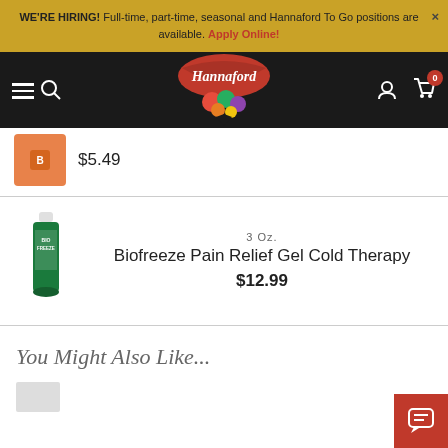WE'RE HIRING! Full-time, part-time, seasonal and Hannaford To Go positions are available. Apply Online!
[Figure (logo): Hannaford supermarket logo with red banner and fruit imagery]
$5.49
3 Oz. Biofreeze Pain Relief Gel Cold Therapy $12.99
You Might Also Like...